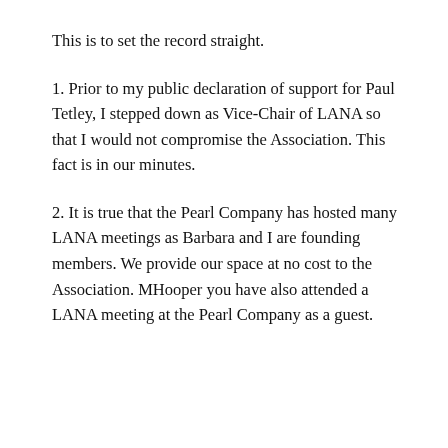This is to set the record straight.
1. Prior to my public declaration of support for Paul Tetley, I stepped down as Vice-Chair of LANA so that I would not compromise the Association. This fact is in our minutes.
2. It is true that the Pearl Company has hosted many LANA meetings as Barbara and I are founding members. We provide our space at no cost to the Association. MHooper you have also attended a LANA meeting at the Pearl Company as a guest.